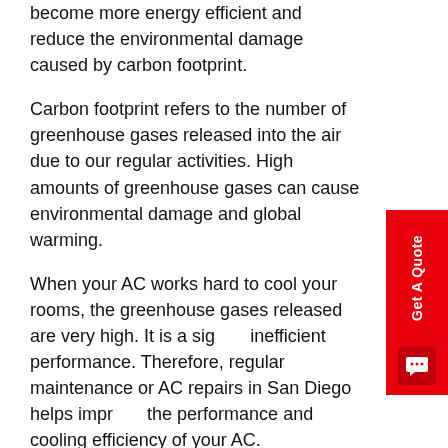become more energy efficient and reduce the environmental damage caused by carbon footprint.
Carbon footprint refers to the number of greenhouse gases released into the air due to our regular activities. High amounts of greenhouse gases can cause environmental damage and global warming.
When your AC works hard to cool your rooms, the greenhouse gases released are very high. It is a sign of inefficient performance. Therefore, regular maintenance or AC repairs in San Diego helps improve the performance and cooling efficiency of your AC. It also helps you save money and time and prevents environmental degradation.
Prevents Unexpected Breakdowns and Improves Air